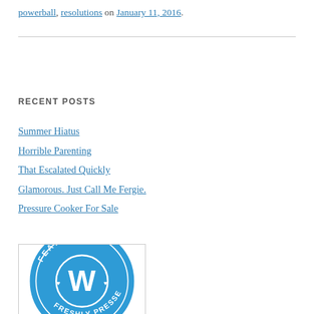powerball, resolutions on January 11, 2016.
RECENT POSTS
Summer Hiatus
Horrible Parenting
That Escalated Quickly
Glamorous. Just Call Me Fergie.
Pressure Cooker For Sale
[Figure (logo): WordPress 'Featured On' badge — circular blue badge with WordPress W logo and text 'FEATURED ON' at top and 'FR...ED' at bottom]